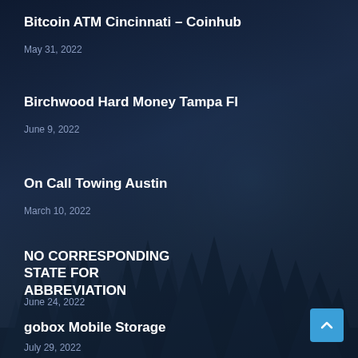Bitcoin ATM Cincinnati – Coinhub
May 31, 2022
Birchwood Hard Money Tampa Fl
June 9, 2022
On Call Towing Austin
March 10, 2022
NO CORRESPONDING STATE FOR ABBREVIATION
June 24, 2022
gobox Mobile Storage
July 29, 2022